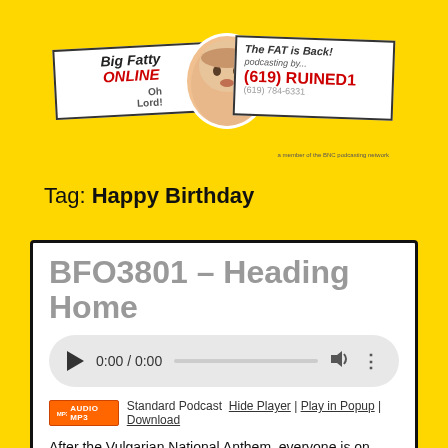[Figure (logo): Big Fatty Online podcast logo with signs, face photo, and phone number (619) RUINED1]
Tag: Happy Birthday
BFO3801 – Heading Home
[Figure (other): Audio player widget showing 0:00 / 0:00]
Standard Podcast  Hide Player | Play in Popup | Download
After the Vulgarian National Anthem, everyone is on their way home but there's still plenty to natter about.
Happy National Eat Outside Day.